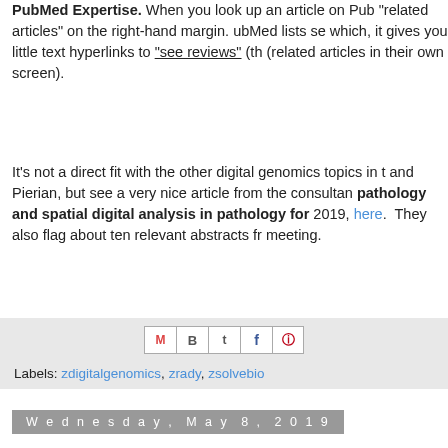PubMed Expertise.  When you look up an article on PubMed, you see "related articles" on the right-hand margin.  ubMed lists se... which, it gives you little text hyperlinks to "see reviews" (th... (related articles in their own screen).
It's not a direct fit with the other digital genomics topics in t... and Pierian, but see a very nice article from the consultanc... pathology and spatial digital analysis in pathology for... 2019, here.  They also flag about ten relevant abstracts fro... meeting.
[Figure (other): Social share icons: Gmail (M), Blogger (B), Twitter (t), Facebook (f), Pinterest (circle-P)]
Labels: zdigitalgenomics, zrady, zsolvebio
Wednesday, May 8, 2019